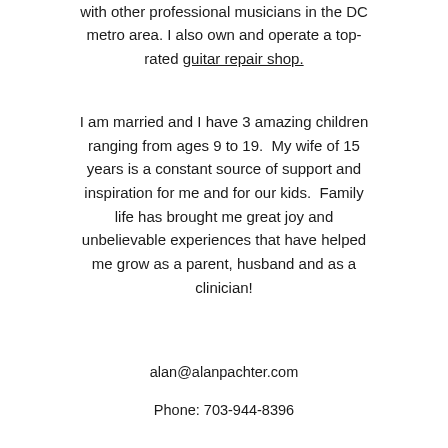with other professional musicians in the DC metro area. I also own and operate a top-rated guitar repair shop.
I am married and I have 3 amazing children ranging from ages 9 to 19.  My wife of 15 years is a constant source of support and inspiration for me and for our kids.  Family life has brought me great joy and unbelievable experiences that have helped me grow as a parent, husband and as a clinician!
alan@alanpachter.com
Phone: 703-944-8396